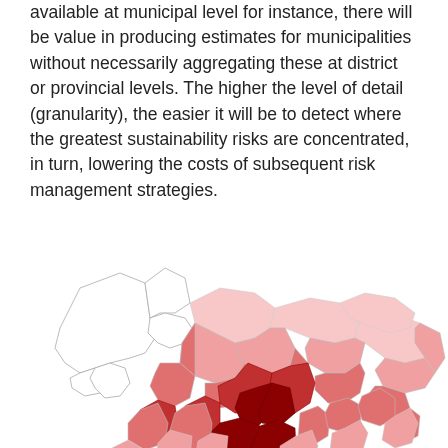available at municipal level for instance, there will be value in producing estimates for municipalities without necessarily aggregating these at district or provincial levels. The higher the level of detail (granularity), the easier it will be to detect where the greatest sustainability risks are concentrated, in turn, lowering the costs of subsequent risk management strategies.
[Figure (map): Choropleth map showing municipalities colored in shades of red/pink indicating sustainability risk levels. Some areas in the upper-left are uncolored (white/outline only), while areas in the center and south show darker red indicating higher risk concentration.]